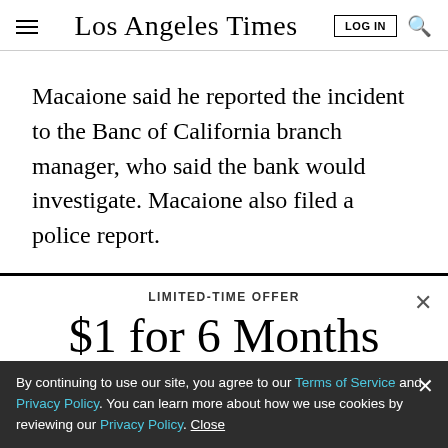Los Angeles Times
Macaione said he reported the incident to the Banc of California branch manager, who said the bank would investigate. Macaione also filed a police report.
LIMITED-TIME OFFER
$1 for 6 Months
SUBSCRIBE NOW
By continuing to use our site, you agree to our Terms of Service and Privacy Policy. You can learn more about how we use cookies by reviewing our Privacy Policy. Close